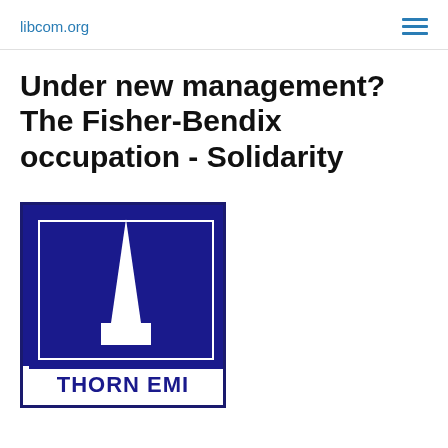libcom.org
Under new management? The Fisher-Bendix occupation - Solidarity
[Figure (logo): Thorn EMI company logo: dark navy blue square with white obelisk/spire shape in center, company name THORN EMI in bold navy text below on white background, with navy border framing.]